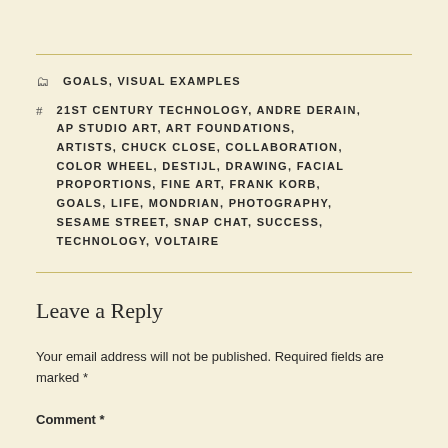GOALS, VISUAL EXAMPLES
21ST CENTURY TECHNOLOGY, ANDRE DERAIN, AP STUDIO ART, ART FOUNDATIONS, ARTISTS, CHUCK CLOSE, COLLABORATION, COLOR WHEEL, DESTIJL, DRAWING, FACIAL PROPORTIONS, FINE ART, FRANK KORB, GOALS, LIFE, MONDRIAN, PHOTOGRAPHY, SESAME STREET, SNAP CHAT, SUCCESS, TECHNOLOGY, VOLTAIRE
Leave a Reply
Your email address will not be published. Required fields are marked *
Comment *